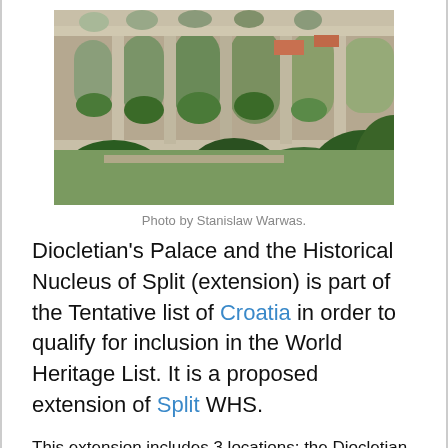[Figure (photo): Photograph of the Diocletian Aqueduct ruins — a long row of stone arches with vegetation growing around them, taken on a sunny day.]
Photo by Stanislaw Warwas.
Diocletian's Palace and the Historical Nucleus of Split (extension) is part of the Tentative list of Croatia in order to qualify for inclusion in the World Heritage List. It is a proposed extension of Split WHS.
This extension includes 3 locations: the Diocletian Aqueduct, the settlement of Splitska and the fortress